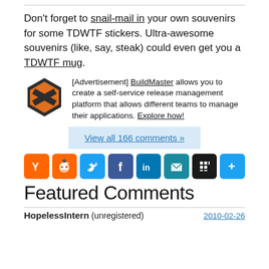Don't forget to snail-mail in your own souvenirs for some TDWTF stickers. Ultra-awesome souvenirs (like, say, steak) could even get you a TDWTF mug.
[Advertisement] BuildMaster allows you to create a self-service release management platform that allows different teams to manage their applications. Explore how!
View all 166 comments »
[Figure (other): Social share buttons: Y Combinator (Hacker News), Reddit, Twitter, Facebook, LinkedIn, Email, Myspace/other, Share+]
Featured Comments
HopelessIntern (unregistered)  2010-02-26